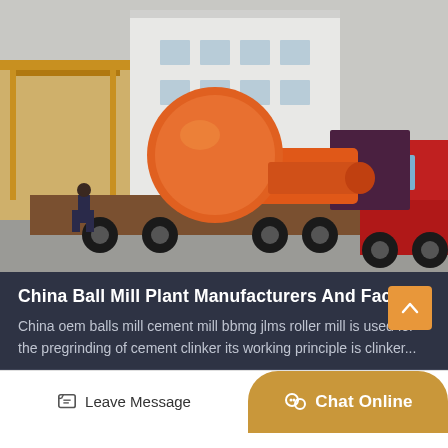[Figure (photo): A large orange ball mill on a flatbed truck, being loaded or transported in an industrial yard with a white factory building and red truck cab visible. A worker stands nearby.]
China Ball Mill Plant Manufacturers And Factory
China oem balls mill cement mill bbmg jlms roller mill is used for the pregrinding of cement clinker its working principle is clinker...
Leave Message
Chat Online